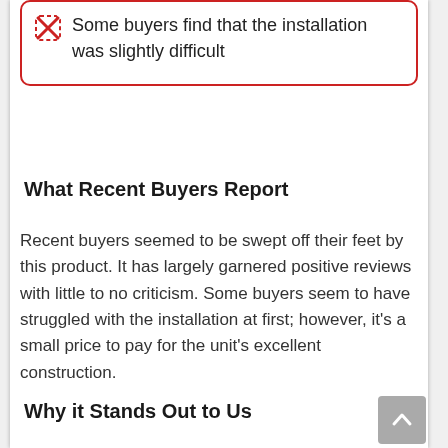Some buyers find that the installation was slightly difficult
What Recent Buyers Report
Recent buyers seemed to be swept off their feet by this product. It has largely garnered positive reviews with little to no criticism. Some buyers seem to have struggled with the installation at first; however, it's a small price to pay for the unit's excellent construction.
Why it Stands Out to Us